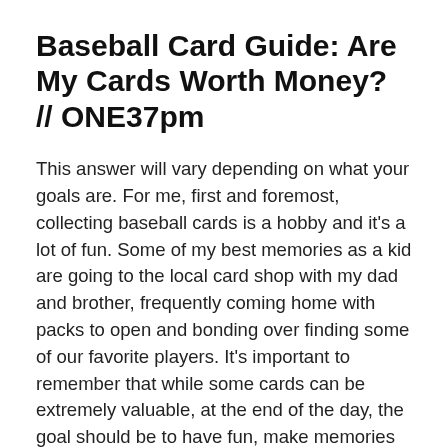Baseball Card Guide: Are My Cards Worth Money? // ONE37pm
This answer will vary depending on what your goals are. For me, first and foremost, collecting baseball cards is a hobby and it’s a lot of fun. Some of my best memories as a kid are going to the local card shop with my dad and brother, frequently coming home with packs to open and bonding over finding some of our favorite players. It’s important to remember that while some cards can be extremely valuable, at the end of the day, the goal should be to have fun, make memories and enjoy your collection.
Whether you want to open up your own local